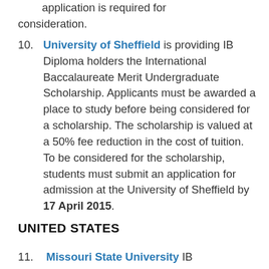application is required for consideration.
University of Sheffield is providing IB Diploma holders the International Baccalaureate Merit Undergraduate Scholarship. Applicants must be awarded a place to study before being considered for a scholarship. The scholarship is valued at a 50% fee reduction in the cost of tuition. To be considered for the scholarship, students must submit an application for admission at the University of Sheffield by 17 April 2015.
UNITED STATES
Missouri State University IB